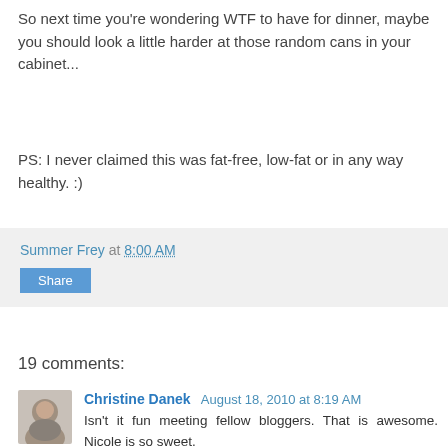So next time you're wondering WTF to have for dinner, maybe you should look a little harder at those random cans in your cabinet...
PS: I never claimed this was fat-free, low-fat or in any way healthy. :)
Summer Frey at 8:00 AM
Share
19 comments:
Christine Danek August 18, 2010 at 8:19 AM
Isn't it fun meeting fellow bloggers. That is awesome. Nicole is so sweet.
The recipe looks so good. Thanks for sharing it. I may try it sometime.